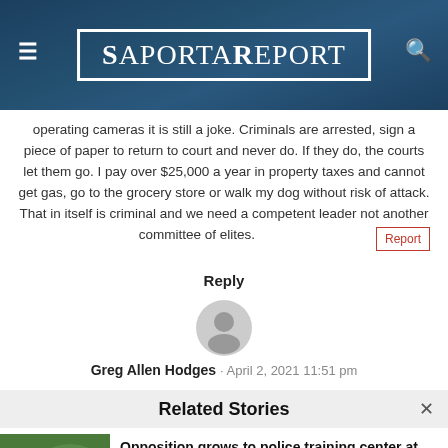SaportaReport
operating cameras it is still a joke. Criminals are arrested, sign a piece of paper to return to court and never do. If they do, the courts let them go. I pay over $25,000 a year in property taxes and cannot get gas, go to the grocery store or walk my dog without risk of attack. That in itself is criminal and we need a competent leader not another committee of elites.
Reply
[Figure (illustration): Generic user avatar circle icon in gray]
Greg Allen Hodges · April 2, 2021 11:51 pm
Related Stories
Opposition grows to police training center at Atlanta Prison Farm